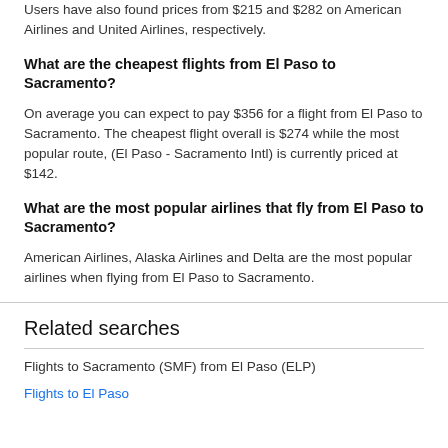Users have also found prices from $215 and $282 on American Airlines and United Airlines, respectively.
What are the cheapest flights from El Paso to Sacramento?
On average you can expect to pay $356 for a flight from El Paso to Sacramento. The cheapest flight overall is $274 while the most popular route, (El Paso - Sacramento Intl) is currently priced at $142.
What are the most popular airlines that fly from El Paso to Sacramento?
American Airlines, Alaska Airlines and Delta are the most popular airlines when flying from El Paso to Sacramento.
Related searches
Flights to Sacramento (SMF) from El Paso (ELP)
Flights to El Paso